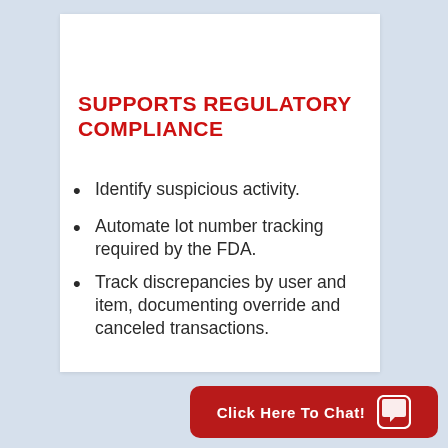SUPPORTS REGULATORY COMPLIANCE
Identify suspicious activity.
Automate lot number tracking required by the FDA.
Track discrepancies by user and item, documenting override and canceled transactions.
Click Here To Chat!